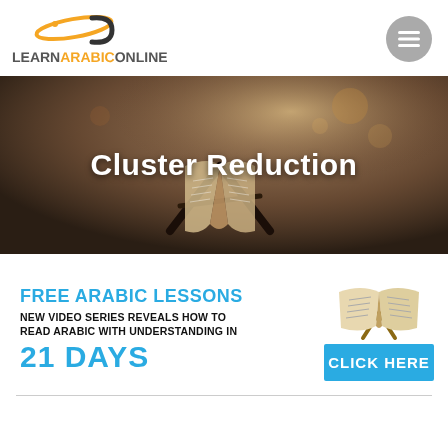[Figure (logo): LearnArabicOnline.com logo with orange swoosh/arabic letter icon above text]
[Figure (photo): Quran on wooden stand in dimly lit room, hero banner background]
Cluster Reduction
[Figure (infographic): Advertisement: FREE ARABIC LESSONS - NEW VIDEO SERIES REVEALS HOW TO READ ARABIC WITH UNDERSTANDING IN 21 DAYS - with open book icon and CLICK HERE button]